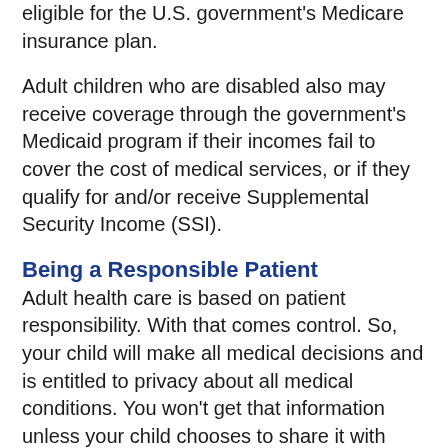eligible for the U.S. government's Medicare insurance plan.
Adult children who are disabled also may receive coverage through the government's Medicaid program if their incomes fail to cover the cost of medical services, or if they qualify for and/or receive Supplemental Security Income (SSI).
Being a Responsible Patient
Adult health care is based on patient responsibility. With that comes control. So, your child will make all medical decisions and is entitled to privacy about all medical conditions. You won't get that information unless your child chooses to share it with you.
It's important for young adults to share their medical information with all their health care providers. This